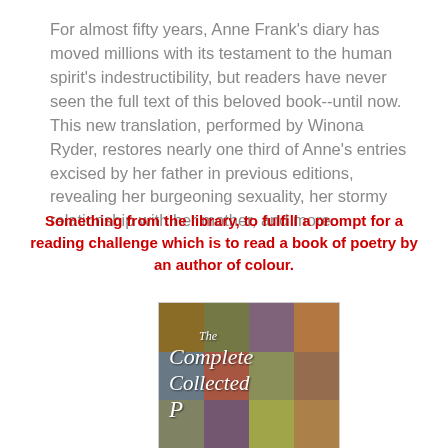For almost fifty years, Anne Frank's diary has moved millions with its testament to the human spirit's indestructibility, but readers have never seen the full text of this beloved book--until now. This new translation, performed by Winona Ryder, restores nearly one third of Anne's entries excised by her father in previous editions, revealing her burgeoning sexuality, her stormy relationship with her mother, and more.
Something from the library, to fulfill a prompt for a reading challenge which is to read a book of poetry by an author of colour.
[Figure (photo): Book cover of 'The Complete Collected' - a colorful patchwork/quilt-style cover with text in white italic serif font showing 'The Complete Collected' with the beginning of another word starting with 'P']